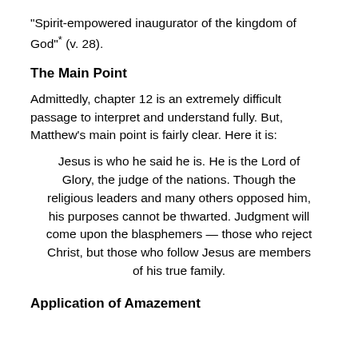“Spirit-empowered inaugurator of the kingdom of God”* (v. 28).
The Main Point
Admittedly, chapter 12 is an extremely difficult passage to interpret and understand fully. But, Matthew’s main point is fairly clear. Here it is:
Jesus is who he said he is. He is the Lord of Glory, the judge of the nations. Though the religious leaders and many others opposed him, his purposes cannot be thwarted. Judgment will come upon the blasphemers — those who reject Christ, but those who follow Jesus are members of his true family.
Application of Amazement